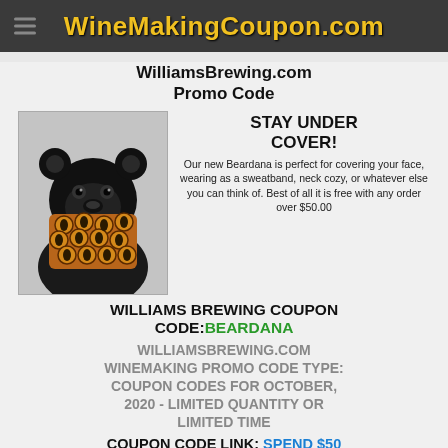WineMakingCoupon.com
WilliamsBrewing.com Promo Code
[Figure (illustration): Illustration of a black bear wearing a Beardana face covering with a circular pattern print]
STAY UNDER COVER! Our new Beardana is perfect for covering your face, wearing as a sweatband, neck cozy, or whatever else you can think of. Best of all it is free with any order over $50.00
WILLIAMS BREWING COUPON CODE: BEARDANA
WILLIAMSBREWING.COM WINEMAKING PROMO CODE TYPE: COUPON CODES FOR OCTOBER, 2020 - LIMITED QUANTITY OR LIMITED TIME
COUPON CODE LINK: SPEND $50 AT WILLIAMS BREWING AND GET A FREE BEARDANA WITH THIS